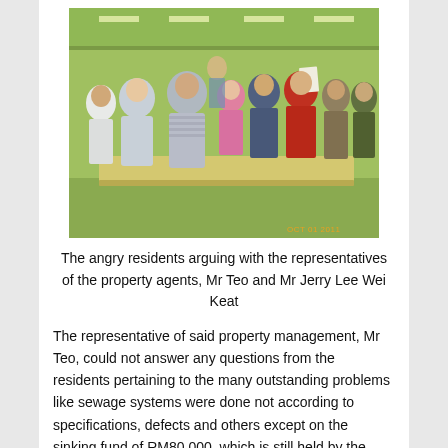[Figure (photo): Group of people standing around a long table in a large indoor hall with green walls and fluorescent lighting. The people appear to be in a discussion or argument. A timestamp in orange reads 'OCT 01 2011' in the bottom right corner.]
The angry residents arguing with the representatives of the property agents, Mr Teo and Mr Jerry Lee Wei Keat
The representative of said property management, Mr Teo, could not answer any questions from the residents pertaining to the many outstanding problems like sewage systems were done not according to specifications, defects and others except on the sinking fund of RM80,000, which is still held by the developer. The answer provided was also unsatisfactory as Mr Teo was merely saying that